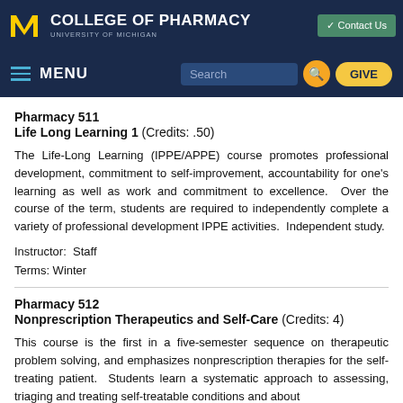College of Pharmacy, University of Michigan
Pharmacy 511
Life Long Learning 1 (Credits: .50)
The Life-Long Learning (IPPE/APPE) course promotes professional development, commitment to self-improvement, accountability for one's learning as well as work and commitment to excellence.  Over the course of the term, students are required to independently complete a variety of professional development IPPE activities.  Independent study.
Instructor: Staff
Terms: Winter
Pharmacy 512
Nonprescription Therapeutics and Self-Care (Credits: 4)
This course is the first in a five-semester sequence on therapeutic problem solving, and emphasizes nonprescription therapies for the self-treating patient.  Students learn a systematic approach to assessing, triaging and treating self-treatable conditions and about